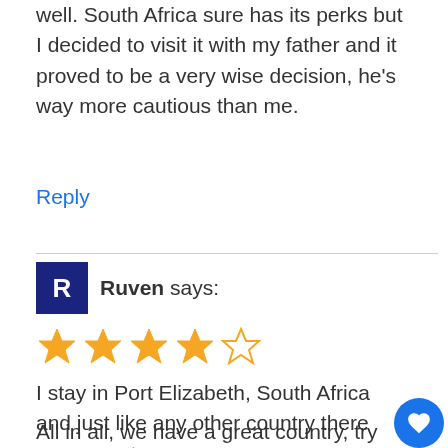well. South Africa sure has its perks but I decided to visit it with my father and it proved to be a very wise decision, he's way more cautious than me.
Reply
Ruven says:
[Figure (other): Star rating: 4 out of 5 stars (4 filled gold stars, 1 empty star)]
I stay in Port Elizabeth, South Africa and just like any other country there are areas to avo
All in all, we have a great country, try not to stand out too much and you'll be fine.